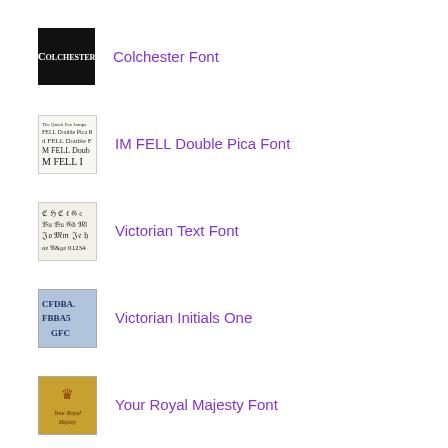[Figure (illustration): Black background image with 'Colchester' written in white blackletter/gothic font]
Colchester Font
[Figure (illustration): White background showing IM FELL Double Pica font sample text in decreasing sizes]
IM FELL Double Pica Font
[Figure (illustration): Font sample showing Victorian Text characters in blackletter style on light background]
Victorian Text Font
[Figure (illustration): Blue-grey background showing Victorian Initials One decorative capital letters]
Victorian Initials One
[Figure (illustration): Gold/brown background showing Your Royal Majesty font sample with crown]
Your Royal Majesty Font